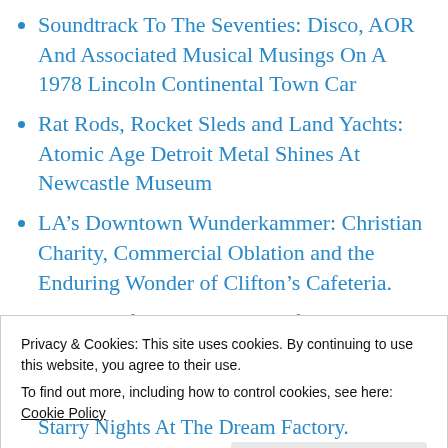Soundtrack To The Seventies: Disco, AOR And Associated Musical Musings On A 1978 Lincoln Continental Town Car
Rat Rods, Rocket Sleds and Land Yachts: Atomic Age Detroit Metal Shines At Newcastle Museum
LA’s Downtown Wunderkammer: Christian Charity, Commercial Oblation and the Enduring Wonder of Clifton’s Cafeteria.
The Art Of Becoming Part Of The Art: Los Angeles’ 14th Factory and Art In the Age Of
Privacy & Cookies: This site uses cookies. By continuing to use this website, you agree to their use.
To find out more, including how to control cookies, see here: Cookie Policy
Close and accept
Starry Nights At The Dream Factory.